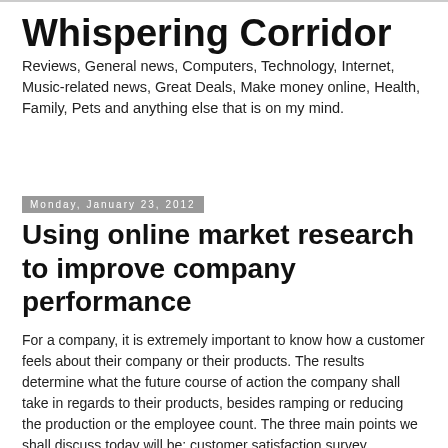Whispering Corridor
Reviews, General news, Computers, Technology, Internet, Music-related news, Great Deals, Make money online, Health, Family, Pets and anything else that is on my mind.
Monday, January 23, 2012
Using online market research to improve company performance
For a company, it is extremely important to know how a customer feels about their company or their products. The results determine what the future course of action the company shall take in regards to their products, besides ramping or reducing the production or the employee count. The three main points we shall discuss today will be: customer satisfaction survey, employee surveys and online market research.